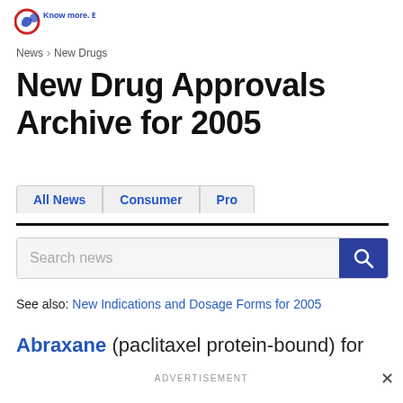[Figure (logo): Drugs.com logo with red and blue circular icon and tagline 'Know more. Be sure.']
News > New Drugs
New Drug Approvals Archive for 2005
All News | Consumer | Pro (tab navigation)
Search news (search bar)
See also: New Indications and Dosage Forms for 2005
Abraxane (paclitaxel protein-bound) for